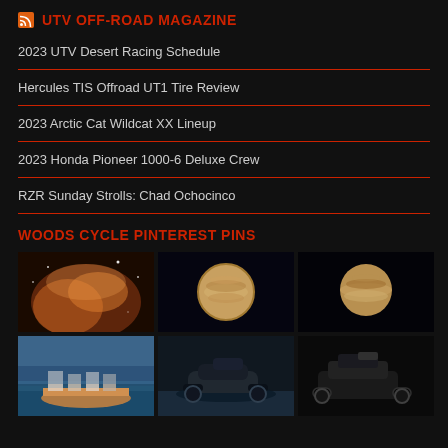UTV OFF-ROAD MAGAZINE
2023 UTV Desert Racing Schedule
Hercules TIS Offroad UT1 Tire Review
2023 Arctic Cat Wildcat XX Lineup
2023 Honda Pioneer 1000-6 Deluxe Crew
RZR Sunday Strolls: Chad Ochocinco
WOODS CYCLE PINTEREST PINS
[Figure (photo): Grid of Pinterest pin images including a nebula/space image, two Jupiter planet images, people in a raft, a jet ski, and an ATV/snowmobile]